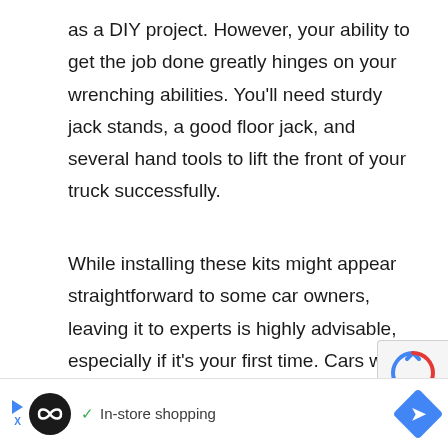as a DIY project. However, your ability to get the job done greatly hinges on your wrenching abilities. You'll need sturdy jack stands, a good floor jack, and several hand tools to lift the front of your truck successfully.
While installing these kits might appear straightforward to some car owners, leaving it to experts is highly advisable, especially if it's your first time. Cars with independent front suspension need more work, exactly why you should outsource to experienced professionals if you doubt your ability to do a thorough job.
[Figure (other): Advertisement banner at bottom of page showing a loop/infinity logo in a black circle, a checkmark with 'In-store shopping' text, and a blue diamond arrow icon on the right. Small play and X icons on the left edge.]